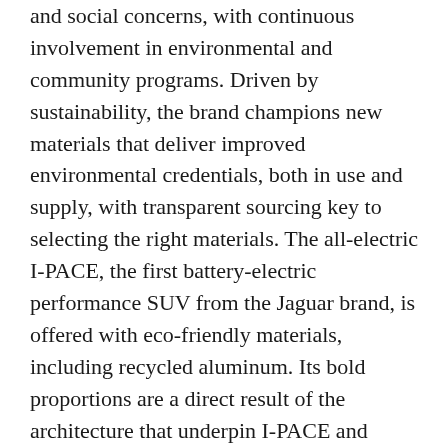and social concerns, with continuous involvement in environmental and community programs. Driven by sustainability, the brand champions new materials that deliver improved environmental credentials, both in use and supply, with transparent sourcing key to selecting the right materials. The all-electric I-PACE, the first battery-electric performance SUV from the Jaguar brand, is offered with eco-friendly materials, including recycled aluminum. Its bold proportions are a direct result of the architecture that underpin I-PACE and advanced electric drivetrain. Jaguar is committed to Destination Zero: a future with zero emissions, zero accidents and zero congestion. In addition to I-PACE, globally all new Jaguar vehicles will offer an electrified powertrain